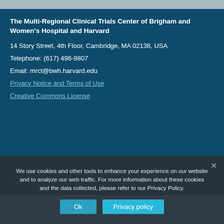The Multi-Regional Clinical Trials Center of Brigham and Women's Hospital and Harvard
14 Story Street, 4th Floor, Cambridge, MA 02138, USA
Telephone: (617) 496-9807
Email: mrct@bwh.harvard.edu
Privacy Notice and Terms of Use
Creative Commons License
Copyright © 2022 Brigham and Women's Hospital Division of Global Health Equity
We use cookies and other tools to enhance your experience on our website and to analyze our web traffic. For more information about these cookies and the data collected, please refer to our Privacy Policy.
Ok
Privacy policy